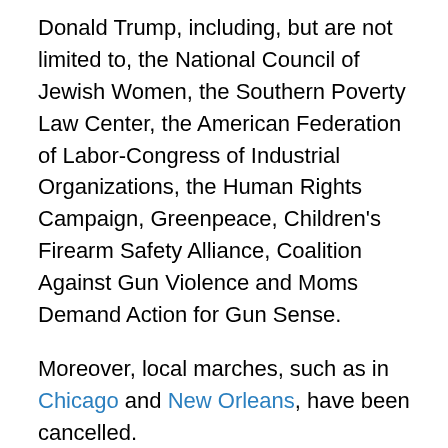Donald Trump, including, but are not limited to, the National Council of Jewish Women, the Southern Poverty Law Center, the American Federation of Labor-Congress of Industrial Organizations, the Human Rights Campaign, Greenpeace, Children's Firearm Safety Alliance, Coalition Against Gun Violence and Moms Demand Action for Gun Sense.
Moreover, local marches, such as in Chicago and New Orleans, have been cancelled.
Jewish organizations such as the Jewish Democratic Committee of America applauded the groups that have scrapped their affiliation with this year's Women's March.
“JDCA supports the objectives of the Women’s March and stands with sister marches across the country this weekend,” its executive director, Halie Soifer, told JNS. “At